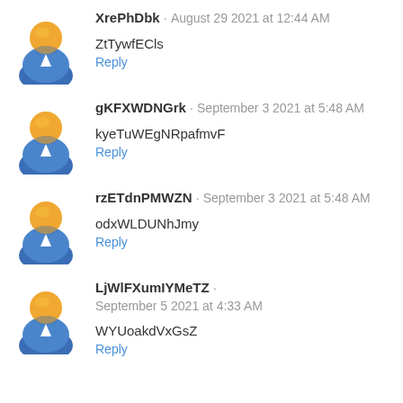XrePhDbk · August 29 2021 at 12:44 AM
ZtTywfECls
Reply
gKFXWDNGrk · September 3 2021 at 5:48 AM
kyeTuWEgNRpafmvF
Reply
rzETdnPMWZN · September 3 2021 at 5:48 AM
odxWLDUNhJmy
Reply
LjWlFXumIYMeTZ · September 5 2021 at 4:33 AM
WYUoakdVxGsZ
Reply